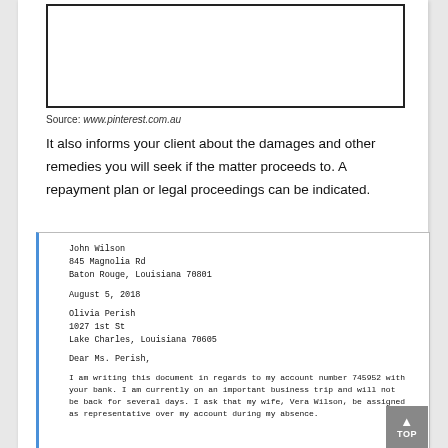[Figure (other): White rectangle with thick black border, representing a placeholder image or document preview box]
Source: www.pinterest.com.au
It also informs your client about the damages and other remedies you will seek if the matter proceeds to. A repayment plan or legal proceedings can be indicated.
[Figure (other): Sample letter from John Wilson, 845 Magnolia Rd, Baton Rouge, Louisiana 70801, dated August 5, 2018, addressed to Olivia Perish, 1027 1st St, Lake Charles, Louisiana 70605. Dear Ms. Perish, I am writing this document in regards to my account number 745952 with your bank. I am currently on an important business trip and will not be back for several days. I ask that my wife, Vera Wilson, be assigned as representative over my account during my absence.]